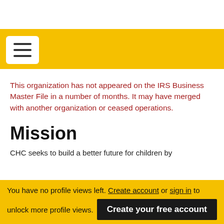[Figure (other): Yellow navigation bar with hamburger menu button (three horizontal lines) on white rounded rectangle background]
This organization has not appeared on the IRS Business Master File in a number of months. It may have merged with another organization or ceased operations.
Mission
CHC seeks to build a better future for children by
You have no profile views left. Create account or sign in to unlock more profile views. Create your free account